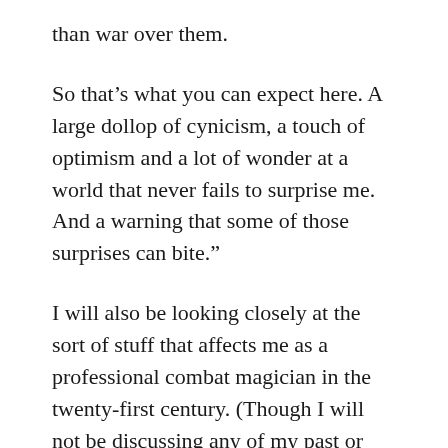than war over them.
So that’s what you can expect here. A large dollop of cynicism, a touch of optimism and a lot of wonder at a world that never fails to surprise me. And a warning that some of those surprises can bite.”
I will also be looking closely at the sort of stuff that affects me as a professional combat magician in the twenty-first century. (Though I will not be discussing any of my past or present cases in any detail, due to client confidentiality.)
So… welcome. Hope you enjoy at least some of